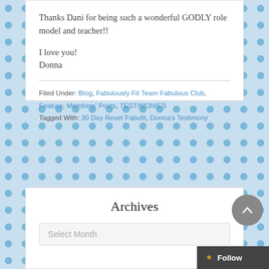Thanks Dani for being such a wonderful GODLY role model and teacher!!
I love you!
Donna
Filed Under: Blog, Fabulously Fit Team Fabulous Club, Feature, Members' Posts, TESTIMONIES
Tagged With: 30 Day Reset Fabufit, Donna's Testimony
Archives
Select Month